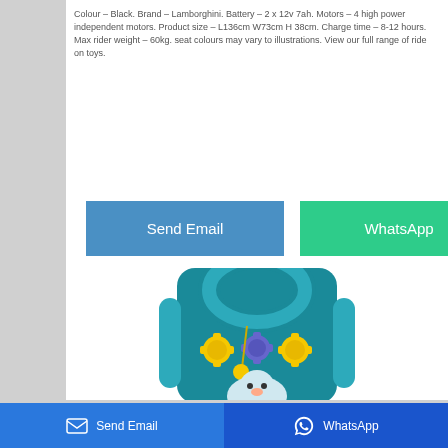Colour – Black. Brand – Lamborghini. Battery – 2 x 12v 7ah. Motors – 4 high power independent motors. Product size – L136cm W73cm H 38cm. Charge time – 8-12 hours. Max rider weight – 60kg. seat colours may vary to illustrations. View our full range of ride on toys.
[Figure (other): Send Email button (blue) and WhatsApp button (green) side by side]
[Figure (photo): Partial view of a teal/blue children's ride-on toy with a handle bar and cartoon animal decorations including gears and a penguin or bear figure]
Send Email    WhatsApp